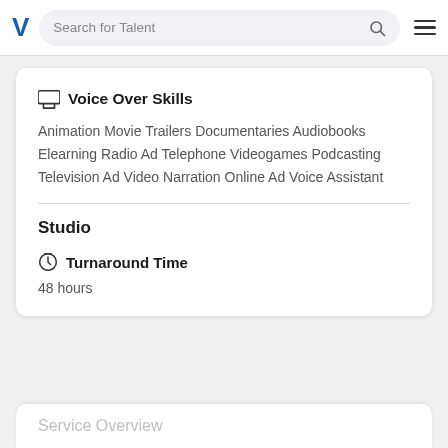Search for Talent
Voice Over Skills
Animation Movie Trailers Documentaries Audiobooks Elearning Radio Ad Telephone Videogames Podcasting Television Ad Video Narration Online Ad Voice Assistant
Studio
Turnaround Time
48 hours
Service Overview